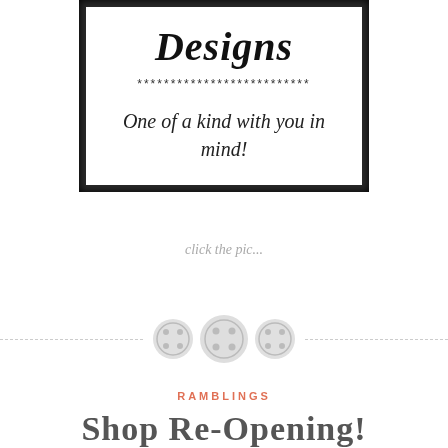[Figure (illustration): Framed card with italic bold 'Designs' title, row of asterisks, and italic tagline 'One of a kind with you in mind!']
click the pic...
[Figure (illustration): Horizontal dashed divider line with three decorative button icons centered on it]
RAMBLINGS
Shop Re-Opening!